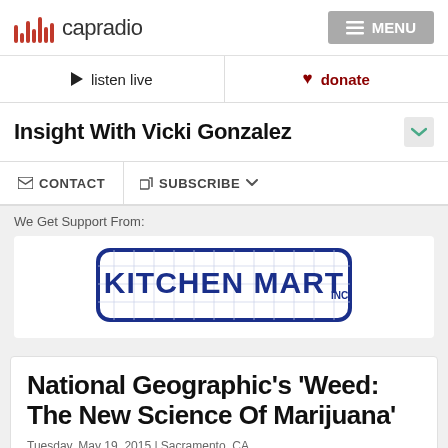capradio | MENU
listen live | donate
Insight With Vicki Gonzalez
CONTACT | SUBSCRIBE
We Get Support From:
[Figure (logo): Kitchen Mart Inc. logo — navy blue text in a rounded rectangle border]
National Geographic's 'Weed: The New Science Of Marijuana'
Tuesday, May 19, 2015 | Sacramento, CA